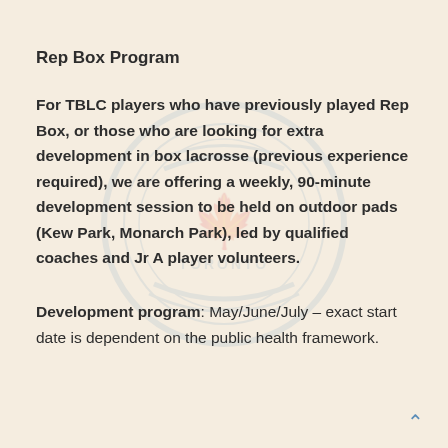Rep Box Program
For TBLC players who have previously played Rep Box, or those who are looking for extra development in box lacrosse (previous experience required), we are offering a weekly, 90-minute development session to be held on outdoor pads (Kew Park, Monarch Park), led by qualified coaches and Jr A player volunteers.
Development program: May/June/July – exact start date is dependent on the public health framework.